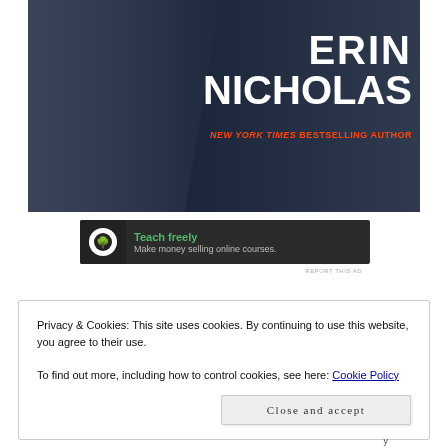[Figure (photo): Book cover image showing two people in jeans, with author name ERIN NICHOLAS and text NEW YORK TIMES BESTSELLING AUTHOR overlaid in white and orange/red text on a dark background.]
[Figure (infographic): Advertisement banner with dark background showing a tree logo icon, headline 'Teach freely' in green, and subtext 'Make money selling online courses.' in gray.]
REPORT THIS AD
Privacy & Cookies: This site uses cookies. By continuing to use this website, you agree to their use.
To find out more, including how to control cookies, see here: Cookie Policy
Close and accept